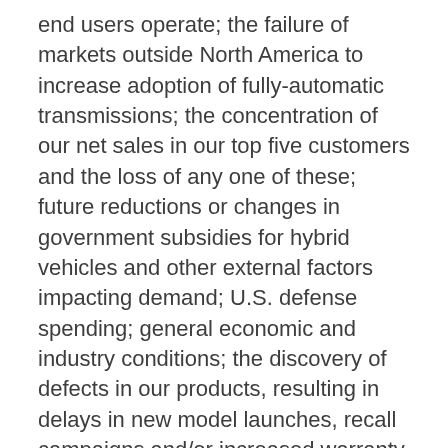end users operate; the failure of markets outside North America to increase adoption of fully-automatic transmissions; the concentration of our net sales in our top five customers and the loss of any one of these; future reductions or changes in government subsidies for hybrid vehicles and other external factors impacting demand; U.S. defense spending; general economic and industry conditions; the discovery of defects in our products, resulting in delays in new model launches, recall campaigns and/or increased warranty costs and reduction in future sales or damage to our brand and reputation; our ability to prepare for, respond to and successfully achieve our objectives relating to technological and market developments and changing customer needs; risks associated with our international operations; labor strikes, work stoppages or similar labor disputes, which could significantly disrupt our operations or those of our principal customers; our intention to